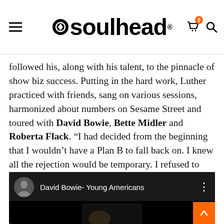soulhead
followed his, along with his talent, to the pinnacle of show biz success. Putting in the hard work, Luther practiced with friends, sang on various sessions, harmonized about numbers on Sesame Street and toured with David Bowie, Bette Midler and Roberta Flack. “I had decided from the beginning that I wouldn’t have a Plan B to fall back on. I knew all the rejection would be temporary. I refused to stop pursuing my dreams simply because other didn’t think I was worthy of a career.”
[Figure (screenshot): YouTube video embed showing 'David Bowie- Young Americans' with dark background, circular avatar thumbnail on left, video title in white text, and three-dot menu icon on right]